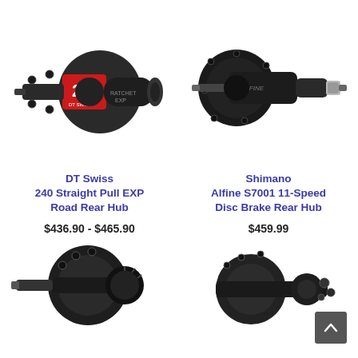[Figure (photo): DT Swiss 240 Straight Pull EXP Road Rear Hub product photo, dark grey hub with red and black design, showing RATCHET EXP branding]
DT Swiss
240 Straight Pull EXP Road Rear Hub
$436.90 - $465.90
[Figure (photo): Shimano Alfine S7001 11-Speed Disc Brake Rear Hub product photo, all-black hub with silver accents]
Shimano
Alfine S7001 11-Speed Disc Brake Rear Hub
$459.99
[Figure (photo): Partially visible bicycle rear hub product photo at bottom left, dark/black color]
[Figure (photo): Partially visible bicycle hub product photo at bottom right, dark color]